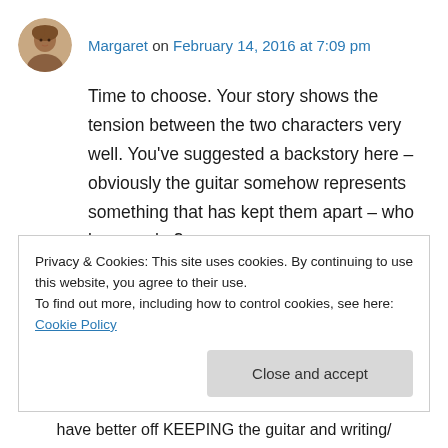[Figure (photo): Small circular avatar photo of a woman with short brown hair]
Margaret on February 14, 2016 at 7:09 pm
Time to choose. Your story shows the tension between the two characters very well. You've suggested a backstory here – obviously the guitar somehow represents something that has kept them apart – who knows why?
↳ Reply
REPORT THIS AD
Privacy & Cookies: This site uses cookies. By continuing to use this website, you agree to their use.
To find out more, including how to control cookies, see here: Cookie Policy
Close and accept
have better off KEEPING the guitar and writing/